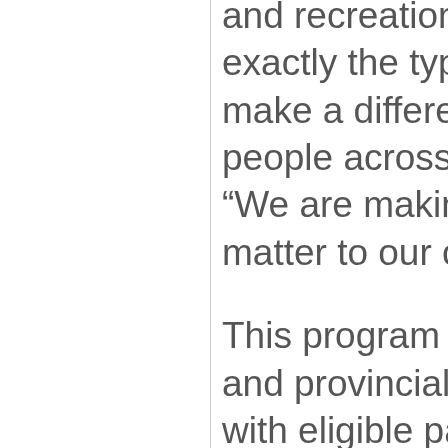and recreational infrastructure are exactly the types of investments that make a difference in the daily lives of people across Ontario," said Scott. "We are making the investments that matter to our communities."
This program is funded by the federal and provincial governments along with eligible partners such as municipalities, Indigenous communities and not-for-profit groups, and could unlock up to $320 million in provincial funding.
“These infrastructure investments are in addition to funding commitments that the Ontario government has already made for rural and northern infrastructure and